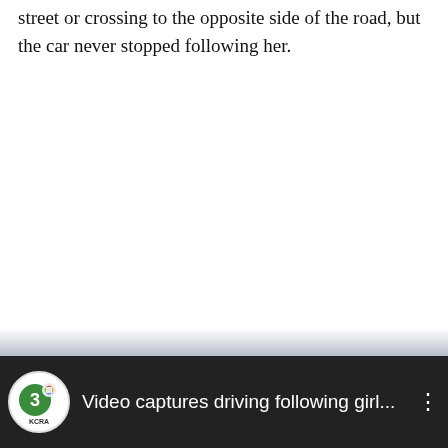street or crossing to the opposite side of the road, but the car never stopped following her.
[Figure (screenshot): Video player thumbnail bar showing KCRA Channel 3 NBC logo and caption 'Video captures driving following girl...' with a three-dot menu button, on a dark background with a road/driving scene partially visible.]